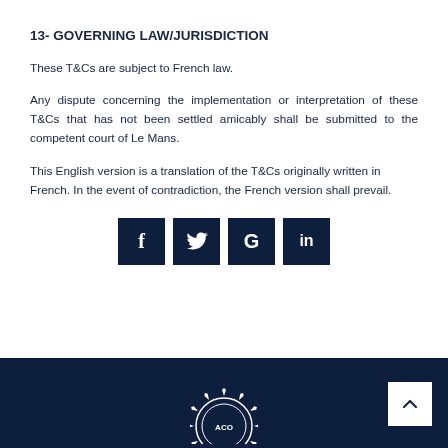13- GOVERNING LAW/JURISDICTION
These T&Cs are subject to French law.
Any dispute concerning the implementation or interpretation of these T&Cs that has not been settled amicably shall be submitted to the competent court of Le Mans.
This English version is a translation of the T&Cs originally written in French. In the event of contradiction, the French version shall prevail.
[Figure (infographic): Four social media icon buttons in dark navy blue: Facebook (f), Twitter (bird/check), Google (G), LinkedIn (in)]
Dark navy footer bar with ACO logo centered and a back-to-top arrow button at bottom right